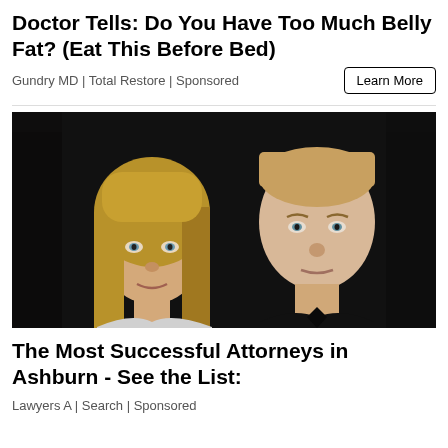Doctor Tells: Do You Have Too Much Belly Fat? (Eat This Before Bed)
Gundry MD | Total Restore | Sponsored
[Figure (photo): Photo of a young blonde woman and a tall man with short hair, both looking at the camera against a dark background]
The Most Successful Attorneys in Ashburn - See the List:
Lawyers A | Search | Sponsored